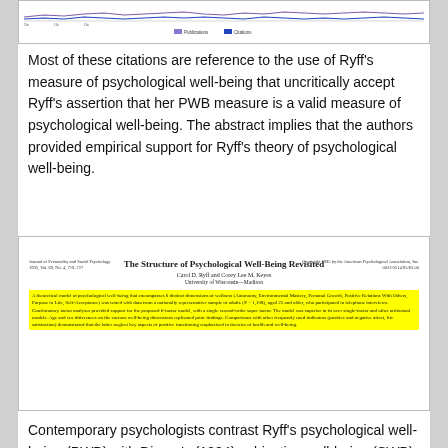[Figure (continuous-plot): Partial view of a line/area chart at top of page with legend showing two series (purple and blue)]
Most of these citations are reference to the use of Ryff's measure of psychological well-being that uncritically accept Ryff's assertion that her PWB measure is a valid measure of psychological well-being. The abstract implies that the authors provided empirical support for Ryff's theory of psychological well-being.
[Figure (screenshot): Scanned journal article page: 'The Structure of Psychological Well-Being Revisited' by Carol D. Ryff and Corey Lee M. Keyes, University of Wisconsin–Madison. Abstract is highlighted in yellow describing a theoretical model of psychological well-being encompassing 6 distinct dimensions tested with a nationally representative sample of adults.]
Contemporary psychologists contrast Ryff's psychological well-being (PWB) with Diener's (1984) subjective well-being (SWB). In an article with over 1,000 citations, Ryff and Keyes (2002) tried to examine how PWB and SWB